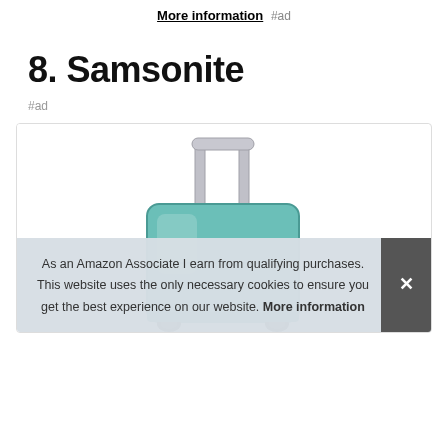More information #ad
8. Samsonite
#ad
[Figure (photo): Samsonite luggage/suitcase product image, teal/green colored suitcase with silver telescoping handle, shown against white background inside a product card box]
As an Amazon Associate I earn from qualifying purchases. This website uses the only necessary cookies to ensure you get the best experience on our website. More information